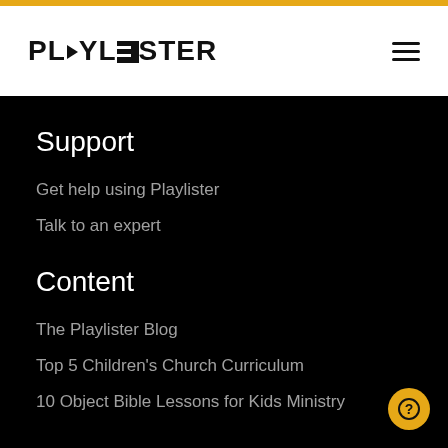PLYLISTER
Support
Get help using Playlister
Talk to an expert
Content
The Playlister Blog
Top 5 Children's Church Curriculum
10 Object Bible Lessons for Kids Ministry